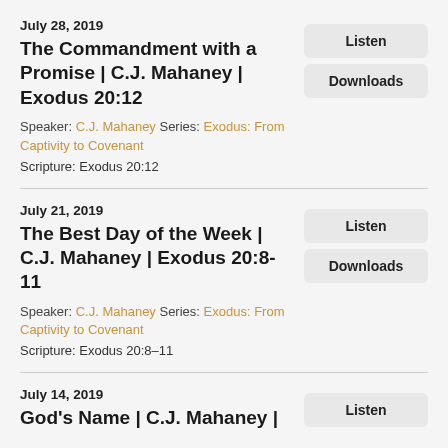July 28, 2019
The Commandment with a Promise | C.J. Mahaney | Exodus 20:12
Speaker: C.J. Mahaney Series: Exodus: From Captivity to Covenant
Scripture: Exodus 20:12
July 21, 2019
The Best Day of the Week | C.J. Mahaney | Exodus 20:8-11
Speaker: C.J. Mahaney Series: Exodus: From Captivity to Covenant
Scripture: Exodus 20:8–11
July 14, 2019
God's Name | C.J. Mahaney |